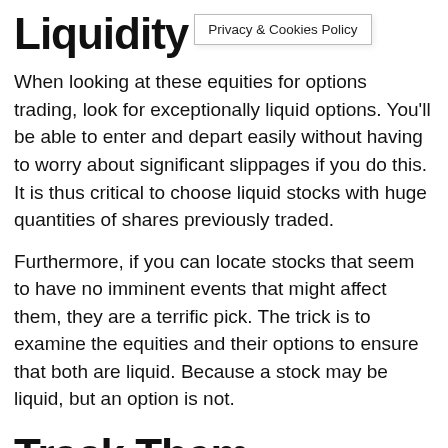Liquidity
Privacy & Cookies Policy
When looking at these equities for options trading, look for exceptionally liquid options. You'll be able to enter and depart easily without having to worry about significant slippages if you do this. It is thus critical to choose liquid stocks with huge quantities of shares previously traded.
Furthermore, if you can locate stocks that seem to have no imminent events that might affect them, they are a terrific pick. The trick is to examine the equities and their options to ensure that both are liquid. Because a stock may be liquid, but an option is not.
Track Them